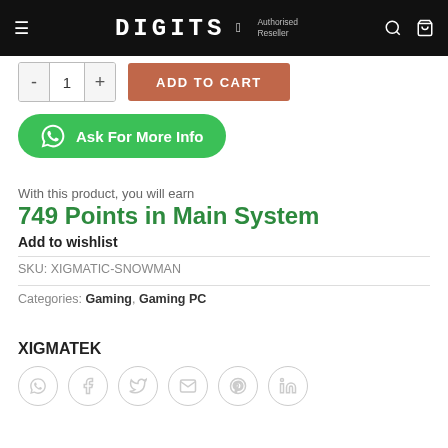DIGITS — Authorised Reseller
[Figure (screenshot): Add to cart row with quantity selector showing '-', '1', '+' and an orange 'ADD TO CART' button]
[Figure (other): Green WhatsApp button labeled 'Ask For More Info']
With this product, you will earn
749 Points in Main System
Add to wishlist
SKU: XIGMATIC-SNOWMAN
Categories: Gaming, Gaming PC
XIGMATEK
[Figure (other): Social share icons row: WhatsApp, Facebook, Twitter, Email, Pinterest, LinkedIn]